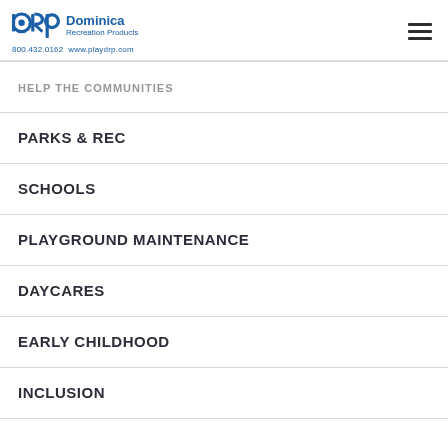DRP Dominica Recreation Products 800.432.0162 www.playdrp.com
HELP THE COMMUNITIES
PARKS & REC
SCHOOLS
PLAYGROUND MAINTENANCE
DAYCARES
EARLY CHILDHOOD
INCLUSION